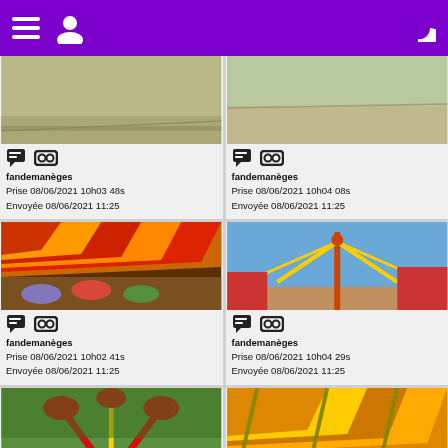fandemanèges app header
[Figure (photo): Empty fairground pavement, top-left card]
fandemanèges
Prise 08/06/2021 10h03 48s
Envoyée 08/06/2021 11:25
[Figure (photo): Empty fairground grass/pavement, top-right card]
fandemanèges
Prise 08/06/2021 10h04 08s
Envoyée 08/06/2021 11:25
[Figure (photo): Bumper cars under orange and red striped canopy, mid-left card]
fandemanèges
Prise 08/06/2021 10h02 41s
Envoyée 08/06/2021 11:25
[Figure (photo): Tall fairground ride with yellow and red arms against blue sky, mid-right card]
fandemanèges
Prise 08/06/2021 10h04 29s
Envoyée 08/06/2021 11:25
[Figure (photo): Red and yellow fairground ride, bottom-left card, partially visible]
[Figure (photo): Orange and yellow striped canopy structure, bottom-right card, partially visible]